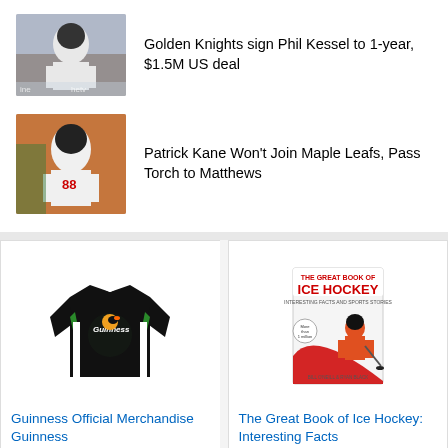[Figure (photo): Hockey player in white uniform with arena crowd background]
Golden Knights sign Phil Kessel to 1-year, $1.5M US deal
[Figure (photo): Hockey player wearing jersey #88 in white uniform]
Patrick Kane Won't Join Maple Leafs, Pass Torch to Matthews
[Figure (photo): Guinness Official Merchandise hockey jersey, black and green]
Guinness Official Merchandise Guinness
$89.95
[Figure (photo): Book cover: The Great Book of Ice Hockey: Interesting Facts]
The Great Book of Ice Hockey: Interesting Facts
$11.95